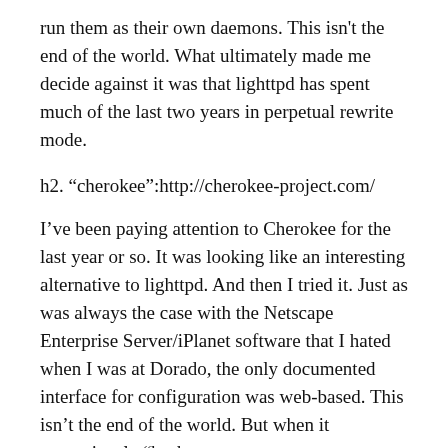run them as their own daemons. This isn't the end of the world. What ultimately made me decide against it was that lighttpd has spent much of the last two years in perpetual rewrite mode.
h2. “cherokee”:http://cherokee-project.com/
I’ve been paying attention to Cherokee for the last year or so. It was looking like an interesting alternative to lighttpd. And then I tried it. Just as was always the case with the Netscape Enterprise Server/iPlanet software that I hated when I was at Dorado, the only documented interface for configuration was web-based. This isn’t the end of the world. But when it mysteriously “broke comments”:http://mischeathen.com/2009/01/good-news-bad-news.html for no discernable reason–and we’re using straight CGI, the simplest possible option for it–that got it the boot. And it’s error log?